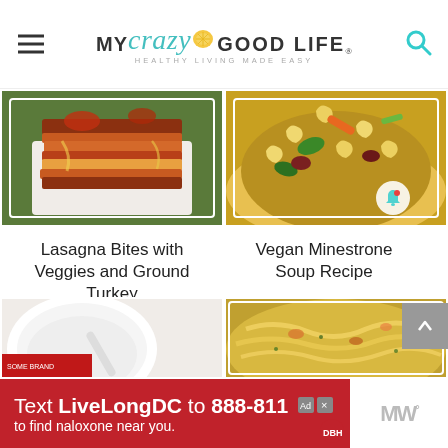MY crazy GOOD LIFE · HEALTHY LIVING MADE EASY
[Figure (photo): Close-up photo of layered lasagna bites with tomato sauce and melted cheese on a white plate]
[Figure (photo): Close-up photo of vegan minestrone soup with macaroni, vegetables, carrots, green beans, and kidney beans in broth]
Lasagna Bites with Veggies and Ground Turkey
Vegan Minestrone Soup Recipe
[Figure (photo): Partial view of a white bowl, likely containing soup]
[Figure (photo): Close-up photo of pasta dish with vegetables]
Text LiveLongDC to 888-811 to find naloxone near you.